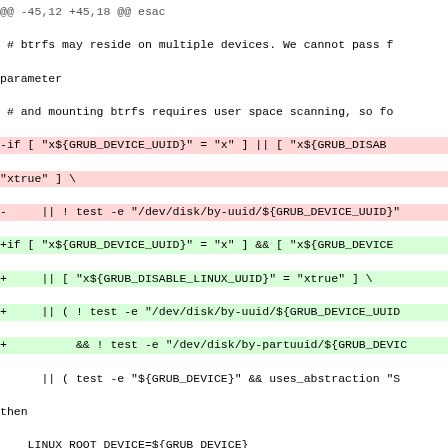@@ -45,12 +45,18 @@ esac
 # btrfs may reside on multiple devices. We cannot pass f parameter
 # and mounting btrfs requires user space scanning, so fo
-if [ "x${GRUB_DEVICE_UUID}" = "x" ] || [ "x${GRUB_DISAB "xtrue" ] \
-     || ! test -e "/dev/disk/by-uuid/${GRUB_DEVICE_UUID}"
+if [ "x${GRUB_DEVICE_UUID}" = "x" ] && [ "x${GRUB_DEVICE
+     || [ "x${GRUB_DISABLE_LINUX_UUID}" = "xtrue" ] \
+     || ( ! test -e "/dev/disk/by-uuid/${GRUB_DEVICE_UUID
+          && ! test -e "/dev/disk/by-partuuid/${GRUB_DEVIC
      || ( test -e "${GRUB_DEVICE}" && uses_abstraction "S
then
    LINUX_ROOT_DEVICE=${GRUB_DEVICE}
-else
+elif [ "x${GRUB_ENABLE_LINUX_PARTUUID}" != "xtrue" ] \
+     || [ "x${GRUB_DEVICE_PARTUUID}" = "x" ] \
+     || ! test -e "/dev/disk/by-partuuid/${GRUB_DEVICE_PA
    LINUX_ROOT_DEVICE=UUID=${GRUB_DEVICE_UUID}
+else
+  LINUX_ROOT_DEVICE=PARTUUID=${GRUB_DEVICE_PARTUUID}
 fi

 case x"$GRUB_FS" in
--
2.16.2